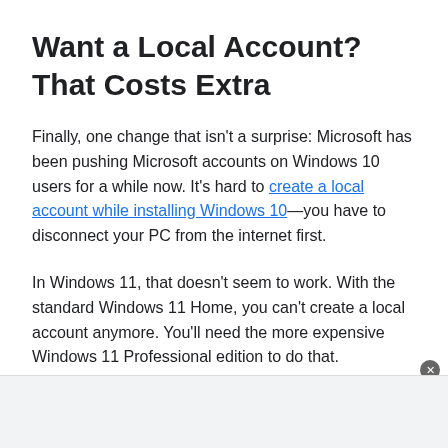Want a Local Account? That Costs Extra
Finally, one change that isn't a surprise: Microsoft has been pushing Microsoft accounts on Windows 10 users for a while now. It's hard to create a local account while installing Windows 10—you have to disconnect your PC from the internet first.
In Windows 11, that doesn't seem to work. With the standard Windows 11 Home, you can't create a local account anymore. You'll need the more expensive Windows 11 Professional edition to do that.